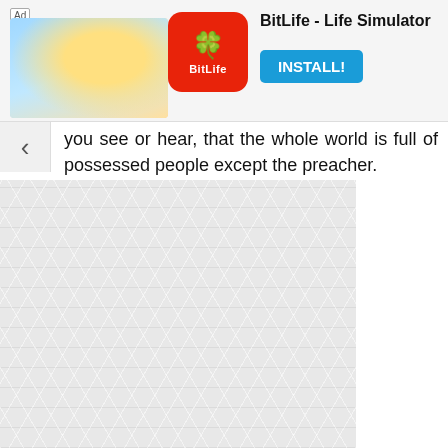[Figure (other): Ad banner for BitLife - Life Simulator app with character image and INSTALL! button]
you see or hear, that the whole world is full of possessed people except the preacher.
Women and men who are always defensive of each gender even on neutral matters like what the preacher said in the quote, even if that's all she said, need to check themselves. Maybe, the statement hits home with them. Otherwise, what the preacher said should not ordinarily provoke the kind of personal attack launched at her by Victoria Inyanma.
Who disagrees there is no perfect husband. How many women love their husbands telling on them on everything. When both genders are used in illustration, the truth in the